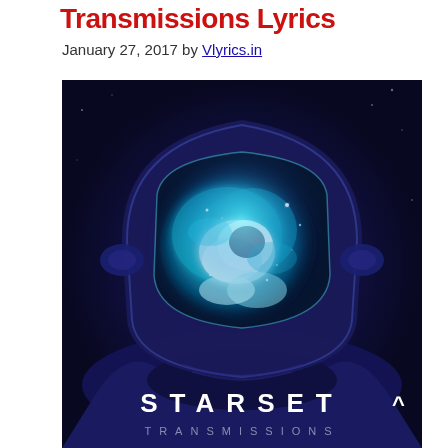Transmissions Lyrics
January 27, 2017 by Vlyrics.in
[Figure (illustration): Album cover art for Starset - Transmissions. Dark blue background with a futuristic astronaut helmet visor reflecting a glowing nebula/galaxy of teal, blue, and white clouds and stars. Below the helmet is the text 'STARSET' in large white spaced letters with a caret symbol, and 'TRANSMISSIONS' in smaller spaced letters beneath.]